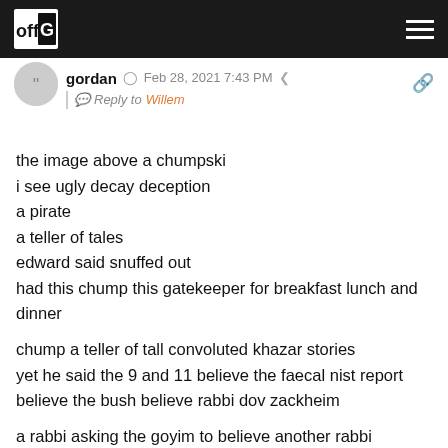OffG [logo] [hamburger menu]
gordan  Feb 28, 2021 7:43 PM  [share icon]
| Reply to Willem
the image above a chumpski
i see ugly decay deception
a pirate
a teller of tales
edward said snuffed out
had this chump this gatekeeper for breakfast lunch and dinner

chump a teller of tall convoluted khazar stories
yet he said the 9 and 11 believe the faecal nist report
believe the bush believe rabbi dov zackheim

a rabbi asking the goyim to believe another rabbi

indeed
[partially cut off text]